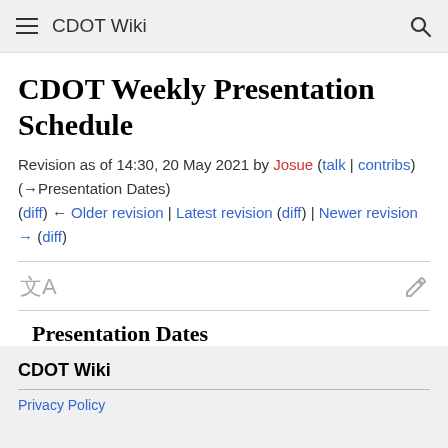CDOT Wiki
CDOT Weekly Presentation Schedule
Revision as of 14:30, 20 May 2021 by Josue (talk | contribs) (→Presentation Dates)
(diff) ← Older revision | Latest revision (diff) | Newer revision → (diff)
Presentation Dates
CDOT Wiki